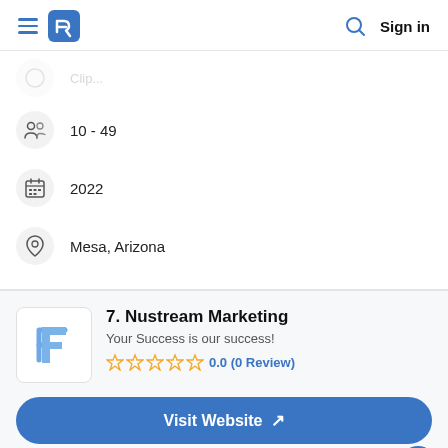≡ [logo] [search] Sign in
10 - 49
2022
Mesa, Arizona
7. Nustream Marketing
Your Success is our success!
0.0 (0 Review)
Visit Website ↗
NuStream specializes in SEO, website design, video production,